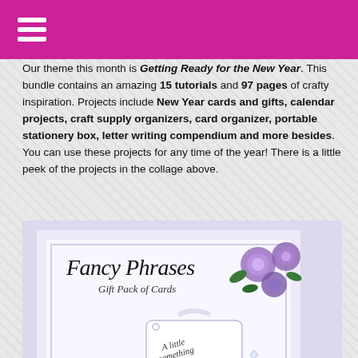≡
Our theme this month is Getting Ready for the New Year. This bundle contains an amazing 15 tutorials and 97 pages of crafty inspiration. Projects include New Year cards and gifts, calendar projects, craft supply organizers, card organizer, portable stationery box, letter writing compendium and more besides. You can use these projects for any time of the year! There is a little peek of the projects in the collage above.
[Figure (photo): A greeting card with purple roses and a tag reading 'A little something just for you', with text overlay reading 'Fancy Phrases Gift Pack of Cards' in italic cursive.]